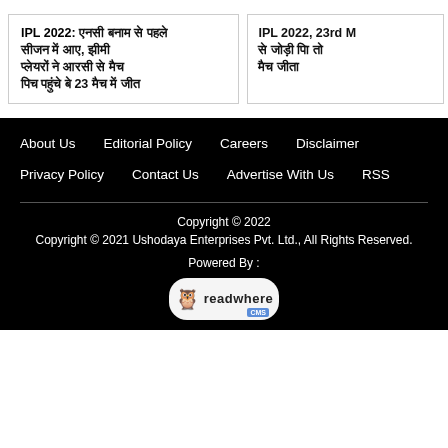IPL 2022: [Hindi text] 23 [Hindi text]
IPL 2022, 23rd M [Hindi text]
About Us
Editorial Policy
Careers
Disclaimer
Privacy Policy
Contact Us
Advertise With Us
RSS
Copyright © 2022
Copyright © 2021 Ushodaya Enterprises Pvt. Ltd., All Rights Reserved.
Powered By :
[Figure (logo): Readwhere CMS logo with owl icon]